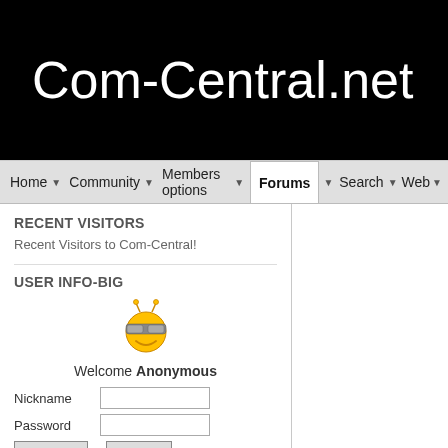Com-Central.net
Home | Community | Members options | Forums | Search | Web
RECENT VISITORS
Recent Visitors to Com-Central!
USER INFO-BIG
[Figure (illustration): Yellow smiley face emoji with sunglasses, pixel art style]
Welcome Anonymous
Nickname
Password
Register  Login